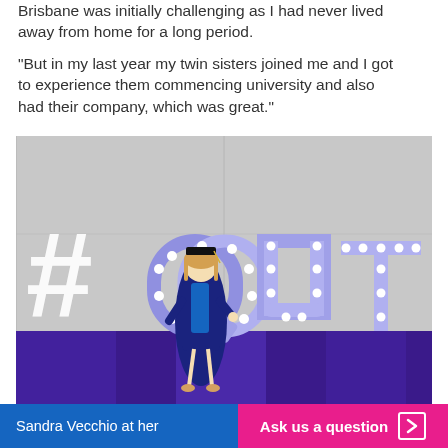Brisbane was initially challenging as I had never lived away from home for a long period.
“But in my last year my twin sisters joined me and I got to experience them commencing university and also had their company, which was great.”
[Figure (photo): A graduate in blue academic gown and mortarboard stands next to large illuminated 3D letters spelling #QUT, which glow purple/white with bulb lights on a striped purple floor.]
Sandra Vecchio at her
Ask us a question